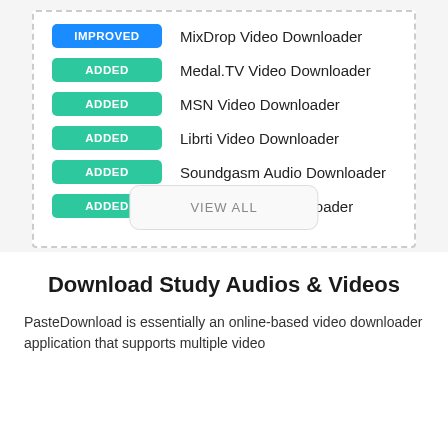IMPROVED — MixDrop Video Downloader
ADDED — Medal.TV Video Downloader
ADDED — MSN Video Downloader
ADDED — Librti Video Downloader
ADDED — Soundgasm Audio Downloader
ADDED — Zepeto Video Downloader
VIEW ALL
Download Study Audios & Videos
PasteDownload is essentially an online-based video downloader application that supports multiple video